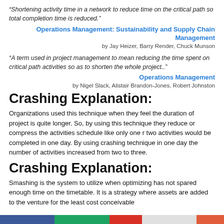“Shortening activity time in a network to reduce time on the critical path so total completion time is reduced.”
Operations Management: Sustainability and Supply Chain Management
by Jay Heizer, Barry Render, Chuck Munson
“A term used in project management to mean reducing the time spent on critical path activities so as to shorten the whole project..”
Operations Management
by Nigel Slack, Alistair Brandon-Jones, Robert Johnston
Crashing Explanation:
Organizations used this technique when they feel the duration of project is quite longer. So, by using this technique they reduce or compress the activities schedule like only one r two activities would be completed in one day. By using crashing technique in one day the number of activities increased from two to three.
Crashing Explanation:
Smashing is the system to utilize when optimizing has not spared enough time on the timetable. It is a strategy where assets are added to the venture for the least cost conceivable